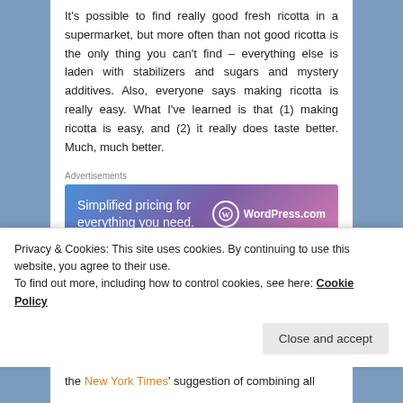It's possible to find really good fresh ricotta in a supermarket, but more often than not good ricotta is the only thing you can't find – everything else is laden with stabilizers and sugars and mystery additives. Also, everyone says making ricotta is really easy. What I've learned is that (1) making ricotta is easy, and (2) it really does taste better. Much, much better.
[Figure (screenshot): WordPress.com advertisement banner with text 'Simplified pricing for everything you need.' and WordPress.com logo on a blue-to-pink gradient background]
I largely followed the recipe and method in Smitten Kitchen, although I adjusted the proportions slightly. Also,
Privacy & Cookies: This site uses cookies. By continuing to use this website, you agree to their use. To find out more, including how to control cookies, see here: Cookie Policy
the New York Times' suggestion of combining all